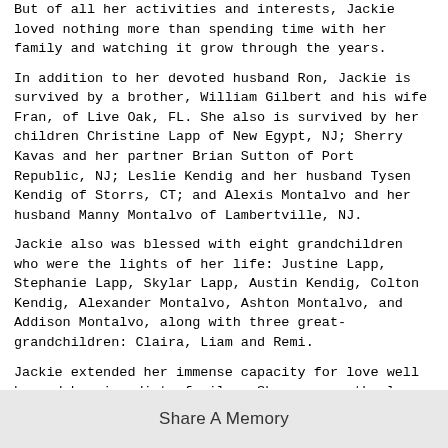But of all her activities and interests, Jackie loved nothing more than spending time with her family and watching it grow through the years.
In addition to her devoted husband Ron, Jackie is survived by a brother, William Gilbert and his wife Fran, of Live Oak, FL. She also is survived by her children Christine Lapp of New Egypt, NJ; Sherry Kavas and her partner Brian Sutton of Port Republic, NJ; Leslie Kendig and her husband Tysen Kendig of Storrs, CT; and Alexis Montalvo and her husband Manny Montalvo of Lambertville, NJ.
Jackie also was blessed with eight grandchildren who were the lights of her life: Justine Lapp, Stephanie Lapp, Skylar Lapp, Austin Kendig, Colton Kendig, Alexander Montalvo, Ashton Montalvo, and Addison Montalvo, along with three great-grandchildren: Claira, Liam and Remi.
Jackie extended her immense capacity for love well beyond her immediate family. She was a motherly and grandmotherly figure to Theresa and Christopher Walker and their four beloved children Amber, Sean, Jared and Sydney who reside in Warminster, PA.
Due to current COVID-19 restrictions, a memorial service to
Share A Memory